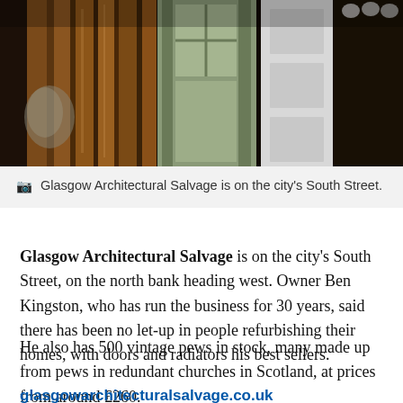[Figure (photo): Photo of Glasgow Architectural Salvage showing wooden doors and architectural salvage items leaning against each other, including a green-painted door frame, viewed from below against a dark background.]
Glasgow Architectural Salvage is on the city's South Street.
Glasgow Architectural Salvage is on the city's South Street, on the north bank heading west. Owner Ben Kingston, who has run the business for 30 years, said there has been no let-up in people refurbishing their homes, with doors and radiators his best sellers.
He also has 500 vintage pews in stock, many made up from pews in redundant churches in Scotland, at prices from around £260.
glasgowarchitecturalsalvage.co.uk